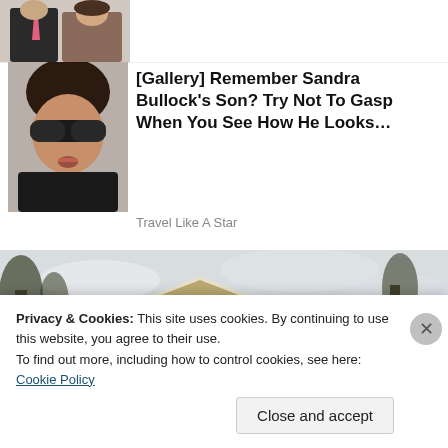[Figure (photo): Partial view of two people, man in suit with pink tie and a woman, cropped at top]
[Figure (photo): Woman with dark sunglasses and brown hair, celebrity photo of Sandra Bullock]
[Gallery] Remember Sandra Bullock's Son? Try Not To Gasp When You See How He Looks…
Travel Like A Star
[Figure (photo): Photo of a beige/tan house with horizontal siding, gabled roof, white trim columns, bare trees in background]
Privacy & Cookies: This site uses cookies. By continuing to use this website, you agree to their use.
To find out more, including how to control cookies, see here: Cookie Policy
Close and accept